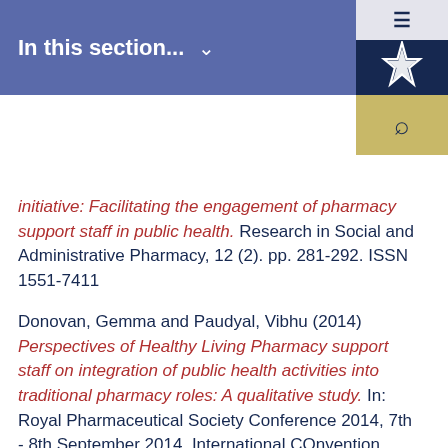In this section...
initiative: Facilitating the engagement of pharmacy support staff in public health. Research in Social and Administrative Pharmacy, 12 (2). pp. 281-292. ISSN 1551-7411
Donovan, Gemma and Paudyal, Vibhu (2014) Perspectives of Healthy Living Pharmacy support staff on integration of public health activities into traditional pharmacy roles: A qualitative study. In: Royal Pharmaceutical Society Conference 2014, 7th - 8th September 2014, International COnvention Centre, Birmingham.